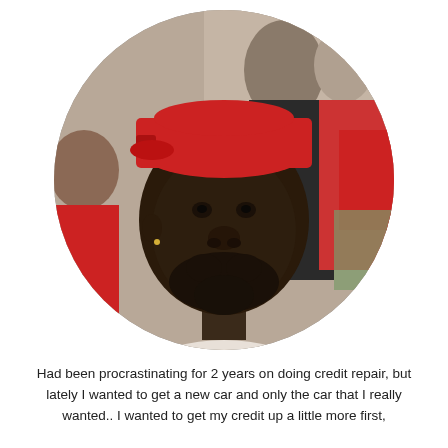[Figure (photo): Circular cropped portrait photo of a young Black man wearing a red Nike cap backwards and a white Nike t-shirt, taking a selfie in a crowded indoor venue with blurred people in the background.]
Had been procrastinating for 2 years on doing credit repair, but lately I wanted to get a new car and only the car that I really wanted.. I wanted to get my credit up a little more first,